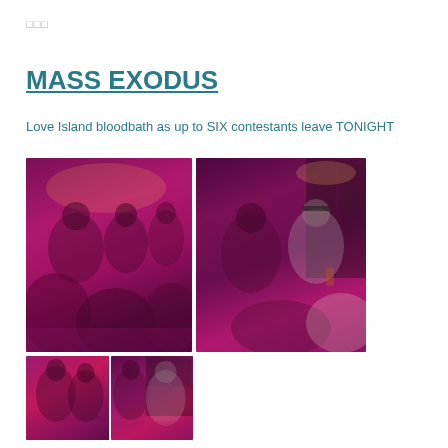□□□
MASS EXODUS
Love Island bloodbath as up to SIX contestants leave TONIGHT
[Figure (photo): Four photos of people at what appears to be a party or club with pink/magenta lighting — two larger photos on top (left: group of people in pink-lit room; right: woman and man in pink-lit bar area) and two smaller photos on the bottom showing similar pink-lit party scenes with couples.]